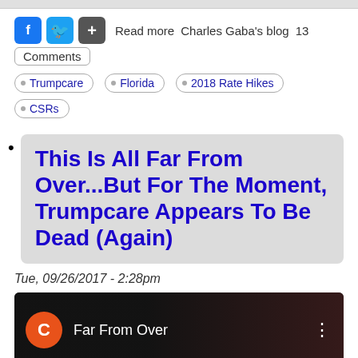Read more  Charles Gaba's blog  13 Comments
Trumpcare
Florida
2018 Rate Hikes
CSRs
This Is All Far From Over...But For The Moment, Trumpcare Appears To Be Dead (Again)
Tue, 09/26/2017 - 2:28pm
[Figure (screenshot): Video thumbnail with orange circle avatar showing letter C, text 'Far From Over', three-dot menu icon, dark background]